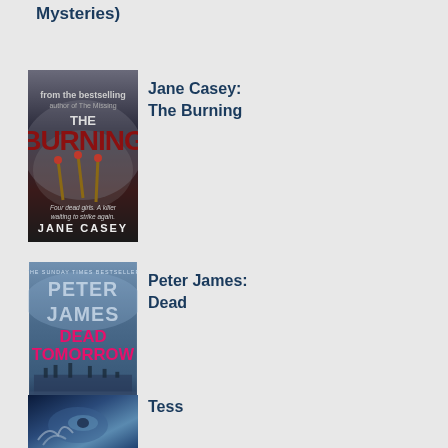Mysteries)
[Figure (illustration): Book cover: The Burning by Jane Casey. Dark cover with matches and burned imagery. Text: 'Four dead girls. A killer waiting to strike again.' JANE CASEY]
Jane Casey: The Burning
[Figure (illustration): Book cover: Dead Tomorrow by Peter James. Blue/grey cover with pier in background. THE SUNDAY TIMES BESTSELLER. PETER JAMES. DEAD TOMORROW in pink text. THE NEW ROY GRACE NOVEL.]
Peter James: Dead Tomorrow
[Figure (illustration): Book cover: partially visible, blue tones, appears to show a person's face/eye.]
Tess